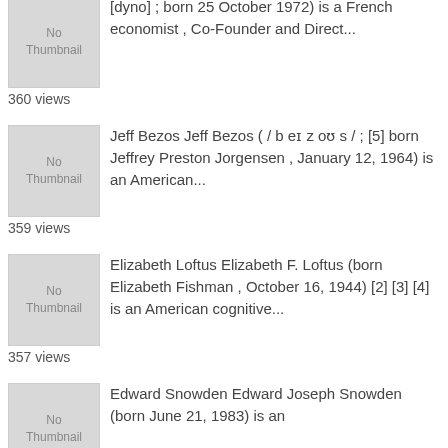[Figure (illustration): No Thumbnail placeholder image for first entry]
[dyno] ; born 25 October 1972) is a French economist , Co-Founder and Direct...
360 views
[Figure (illustration): No Thumbnail placeholder image for Jeff Bezos entry]
Jeff Bezos Jeff Bezos ( / b eɪ z oʊ s / ; [5] born Jeffrey Preston Jorgensen , January 12, 1964) is an American...
359 views
[Figure (illustration): No Thumbnail placeholder image for Elizabeth Loftus entry]
Elizabeth Loftus Elizabeth F. Loftus (born Elizabeth Fishman , October 16, 1944) [2] [3] [4] is an American cognitive...
357 views
[Figure (illustration): No Thumbnail placeholder image for Edward Snowden entry]
Edward Snowden Edward Joseph Snowden (born June 21, 1983) is an